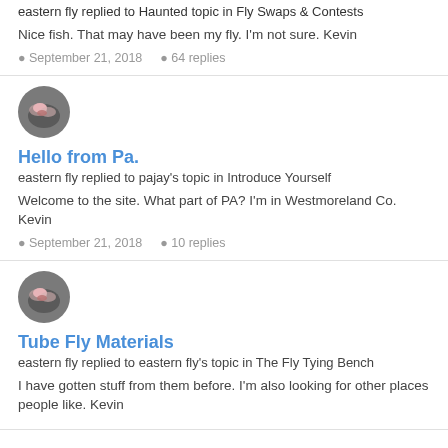eastern fly replied to Haunted topic in Fly Swaps & Contests
Nice fish. That may have been my fly. I'm not sure. Kevin
September 21, 2018   64 replies
[Figure (photo): Circular avatar photo showing a fly fishing lure with pink and white elements on a dark background]
Hello from Pa.
eastern fly replied to pajay's topic in Introduce Yourself
Welcome to the site. What part of PA? I'm in Westmoreland Co. Kevin
September 21, 2018   10 replies
[Figure (photo): Circular avatar photo showing a fly fishing lure with pink and white elements on a dark background]
Tube Fly Materials
eastern fly replied to eastern fly's topic in The Fly Tying Bench
I have gotten stuff from them before. I'm also looking for other places people like. Kevin